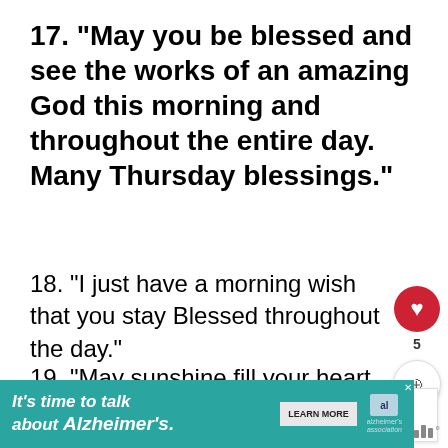17. “May you be blessed and see the works of an amazing God this morning and throughout the entire day. Many Thursday blessings.”
18. “I just have a morning wish that you stay Blessed throughout the day.”
19. “May sunshine fill your heart this morning, and may your day be filled with happiness and love.”
[Figure (other): Red circular like/heart button with count 5 and a share button below it]
[Figure (other): What's Next panel showing '149 Most Wonderful...' with thumbnail]
[Figure (other): Advertisement banner: It's time to talk about Alzheimer's. with Learn More button and Alzheimer's Association logo]